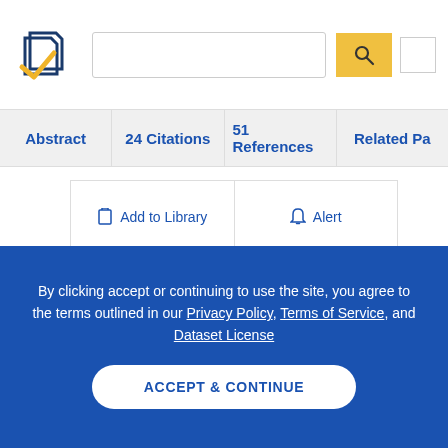[Figure (logo): Semantic Scholar logo — navy and gold checkmark with page-stack icon]
Abstract | 24 Citations | 51 References | Related Pa…
Add to Library   Alert
The Mathematical Origins of Modern Computing
M. Priestley
By clicking accept or continuing to use the site, you agree to the terms outlined in our Privacy Policy, Terms of Service, and Dataset License
ACCEPT & CONTINUE